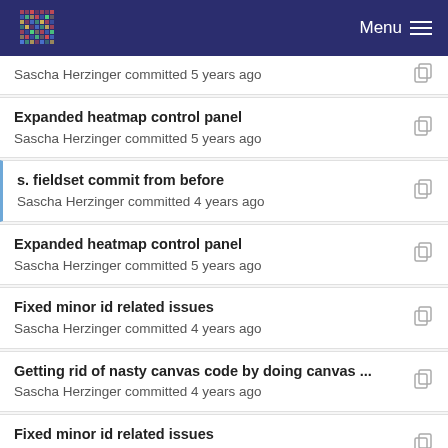Menu
Sascha Herzinger committed 5 years ago
Expanded heatmap control panel
Sascha Herzinger committed 5 years ago
s. fieldset commit from before
Sascha Herzinger committed 4 years ago
Expanded heatmap control panel
Sascha Herzinger committed 5 years ago
Fixed minor id related issues
Sascha Herzinger committed 4 years ago
Getting rid of nasty canvas code by doing canvas ...
Sascha Herzinger committed 4 years ago
Fixed minor id related issues
Sascha Herzinger committed 4 years ago
Expanded heatmap control panel
Sascha Herzinger committed 5 years ago